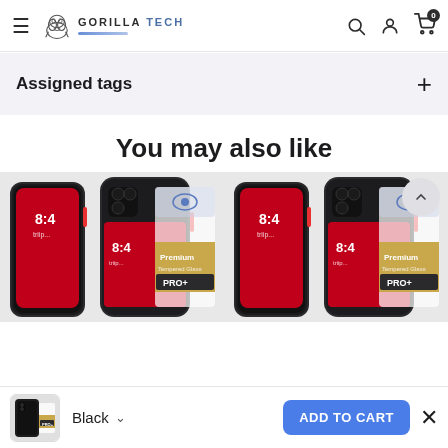[Figure (screenshot): Gorilla Tech website header with hamburger menu, logo, search, account, and cart icons]
Assigned tags
You may also like
[Figure (photo): Two product cards each showing iPhone 11 Pro case and Premium Tempered Glass PRO+ screen protector packaging]
Black
ADD TO CART